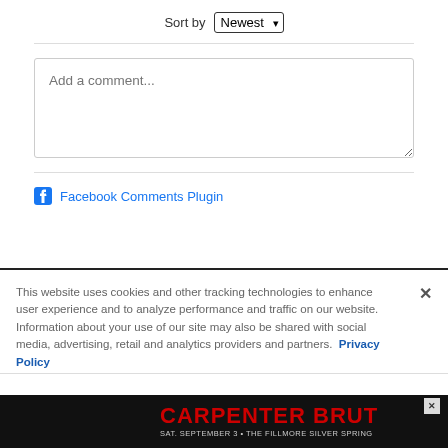Sort by Newest
[Figure (screenshot): Comment input textarea with placeholder text 'Add a comment...']
Facebook Comments Plugin
This website uses cookies and other tracking technologies to enhance user experience and to analyze performance and traffic on our website. Information about your use of our site may also be shared with social media, advertising, retail and analytics providers and partners. Privacy Policy
[Figure (screenshot): Ad banner for Carpenter Brut, Sat. September 3, The Fillmore Silver Spring]